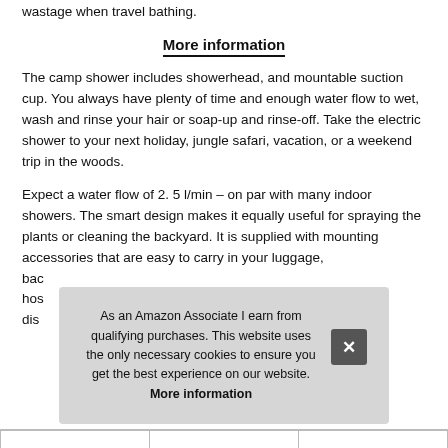wastage when travel bathing.
More information
The camp shower includes showerhead, and mountable suction cup. You always have plenty of time and enough water flow to wet, wash and rinse your hair or soap-up and rinse-off. Take the electric shower to your next holiday, jungle safari, vacation, or a weekend trip in the woods.
Expect a water flow of 2. 5 l/min – on par with many indoor showers. The smart design makes it equally useful for spraying the plants or cleaning the backyard. It is supplied with mounting accessories that are easy to carry in your luggage, bac... hos... dis...
As an Amazon Associate I earn from qualifying purchases. This website uses the only necessary cookies to ensure you get the best experience on our website. More information